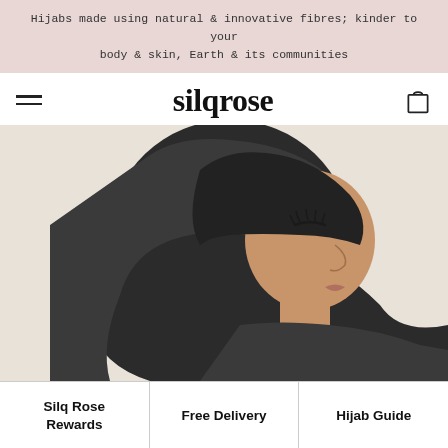Hijabs made using natural & innovative fibres; kinder to your body & skin, Earth & its communities
silqrose
[Figure (photo): Side profile of a woman wearing a dark charcoal/black hijab draped elegantly, photographed against a light beige/cream background. The woman's face is shown in profile with eyes closed.]
Silq Rose Rewards
Free Delivery
Hijab Guide